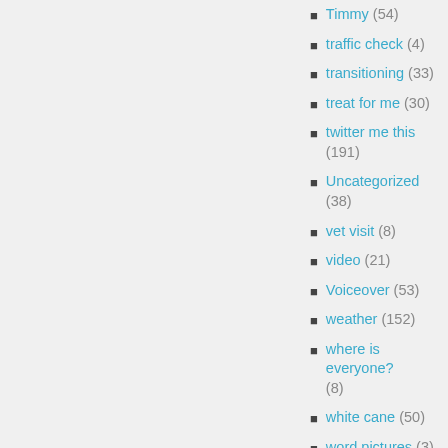Timmy (54)
traffic check (4)
transitioning (33)
treat for me (30)
twitter me this (191)
Uncategorized (38)
vet visit (8)
video (21)
Voiceover (53)
weather (152)
where is everyone? (8)
white cane (50)
word pictures (3)
working dog (132)
workouts (75)
wow (29)
writing (51)
yoga (10)